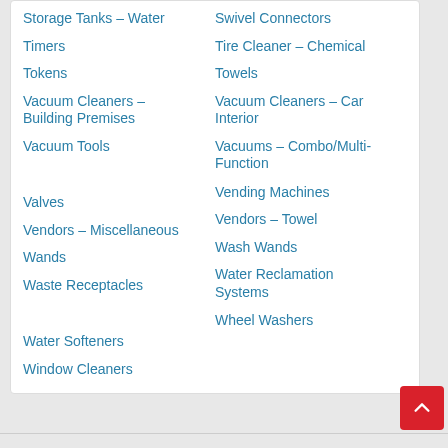Storage Tanks – Water
Swivel Connectors
Timers
Tire Cleaner – Chemical
Tokens
Towels
Vacuum Cleaners – Building Premises
Vacuum Cleaners – Car Interior
Vacuum Tools
Vacuums – Combo/Multi-Function
Valves
Vending Machines
Vendors – Miscellaneous
Vendors – Towel
Wands
Wash Wands
Waste Receptacles
Water Reclamation Systems
Water Softeners
Wheel Washers
Window Cleaners